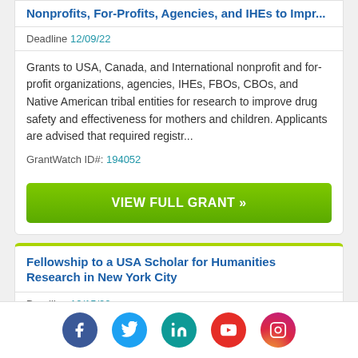Nonprofits, For-Profits, Agencies, and IHEs to Impr...
Deadline 12/09/22
Grants to USA, Canada, and International nonprofit and for-profit organizations, agencies, IHEs, FBOs, CBOs, and Native American tribal entities for research to improve drug safety and effectiveness for mothers and children. Applicants are advised that required registr...
GrantWatch ID#: 194052
VIEW FULL GRANT »
Fellowship to a USA Scholar for Humanities Research in New York City
Deadline 12/15/22